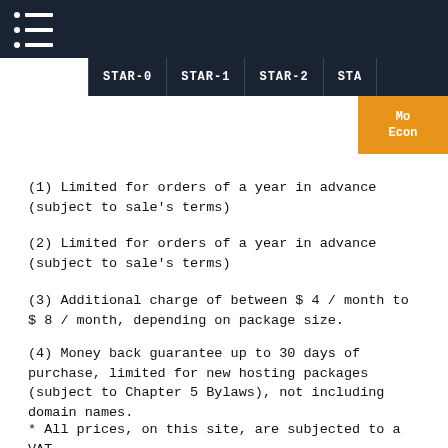Navigation header with hamburger menu and STAR-0, STAR-1, STAR-2, STAR- tabs
Mo Econo (orange box, partially visible)
(1) Limited for orders of a year in advance (subject to sale's terms)
(2) Limited for orders of a year in advance (subject to sale's terms)
(3) Additional charge of between $ 4 / month to $ 8 / month, depending on package size.
(4) Money back guarantee up to 30 days of purchase, limited for new hosting packages (subject to Chapter 5 Bylaws), not including domain names.
* All prices, on this site, are subjected to a VAT according to the Israeli law system.
* Conversion of U.S Dolar to NIS is according to the daily exchange rate, but not less than 4.1 NIS to $.
* Payments will be made in advance for the selected hosting period, while the monthly prices, derived